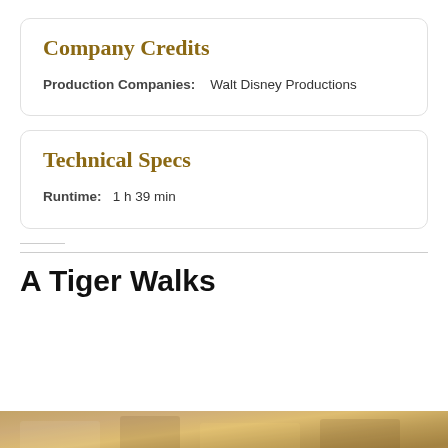Company Credits
Production Companies:   Walt Disney Productions
Technical Specs
Runtime:   1 h 39 min
A Tiger Walks
[Figure (photo): Partial thumbnail image at bottom of page, warm golden/brown tones]